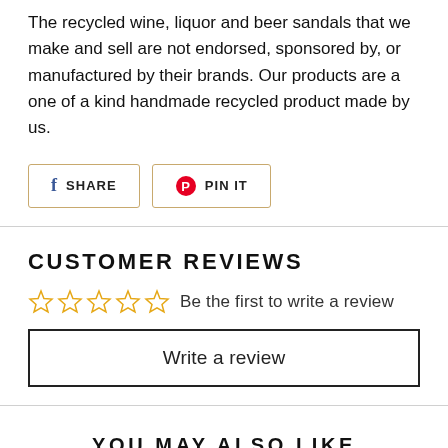The recycled wine, liquor and beer sandals that we make and sell are not endorsed, sponsored by, or manufactured by their brands. Our products are a one of a kind handmade recycled product made by us.
[Figure (other): Social share buttons: Facebook SHARE and Pinterest PIN IT, each in a bordered rounded-rectangle button with brand icons]
CUSTOMER REVIEWS
☆☆☆☆☆ Be the first to write a review
Write a review
YOU MAY ALSO LIKE